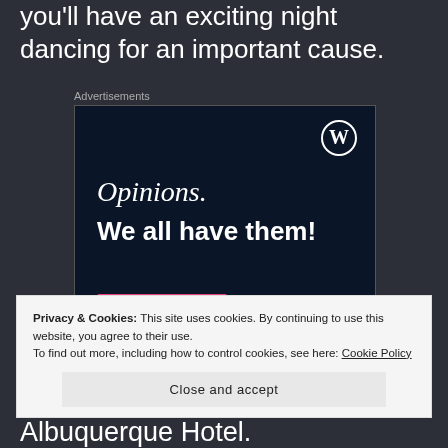you'll have an exciting night dancing for an important cause.
Advertisements
[Figure (screenshot): WordPress.com advertisement with dark navy background showing WordPress logo (W in circle), text 'Opinions. We all have them!' with a pink button bar and gray circle at bottom.]
Privacy & Cookies: This site uses cookies. By continuing to use this website, you agree to their use.
To find out more, including how to control cookies, see here: Cookie Policy
Close and accept
Albuquerque Hotel.